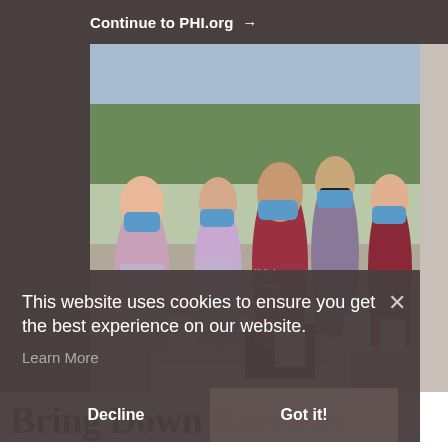Continue to PHI.org →
[Figure (photo): Group of six people wearing blue face masks standing outdoors near a vehicle. Several are wearing lavender/purple t-shirts with a United Against COVID19 logo. Others wear maroon shirts. They are holding papers. Trees and a parking lot visible in background.]
This website uses cookies to ensure you get the best experience on our website.
Learn More
Decline
Got it!
Bring Down Barriers